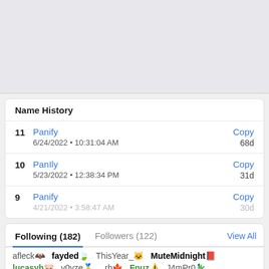[Figure (other): Gray placeholder area at top of page]
Name History
| # | Name | Date | Copy | Duration |
| --- | --- | --- | --- | --- |
| 11 | Panify | 6/24/2022 • 10:31:04 AM | Copy | 68d |
| 10 | PanIly | 5/23/2022 • 12:38:34 PM | Copy | 31d |
| 9 | Panify | 4/21/2022 • 3:58:47 AM | Copy | 30d |
Following (182)   Followers (122)   View All
afleck 🦇  fayded 🍃  ThisYear_ 🐱  MuteMidnight 📕
lucasyh 🐷  v0yze 🥇  _rb 🍁  Fnuz ⚠️  J4mPr0 🦎
Vexaay 🐚  _UvU 🖤  Kikasi  Whatify 🍲  Preposing 🌸